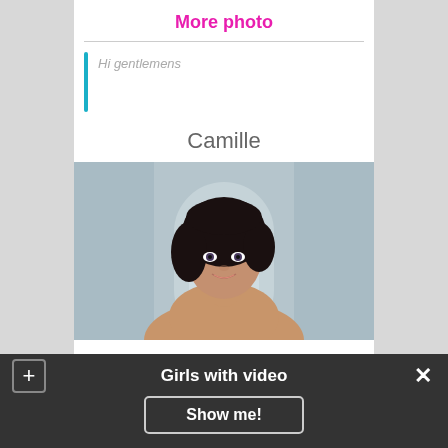More photo
Hi gentlemens
Camille
[Figure (photo): Portrait photo of a young dark-haired woman named Camille, smiling, against a grey architectural background]
Girls with video
Show me!